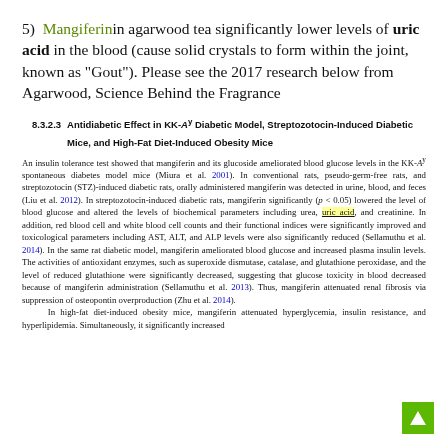5)  Mangiferinin agarwood tea significantly lower levels of uric acid in the blood (cause solid crystals to form within the joint, known as "Gout"). Please see the 2017 research below from Agarwood, Science Behind the Fragrance
8.3.2.3   Antidiabetic Effect in KK-Ay Diabetic Model, Streptozotocin-Induced Diabetic Mice, and High-Fat Diet-Induced Obesity Mice
An insulin tolerance test showed that mangiferin and its glucoside ameliorated blood glucose levels in the KK-Ay spontaneous diabetes model mice (Miura et al. 2001). In conventional rats, pseudo-germ-free rats, and streptozotocin (STZ)-induced diabetic rats, orally administered mangiferin was detected in urine, blood, and feces (Liu et al. 2012). In streptozotocin-induced diabetic rats, mangiferin significantly (p < 0.05) lowered the level of blood glucose and altered the levels of biochemical parameters including urea, uric acid, and creatinine. In addition, red blood cell and white blood cell counts and their functional indices were significantly improved and toxicological parameters including AST, ALT, and ALP levels were also significantly reduced (Sellamuthu et al. 2014). In the same rat diabetic model, mangiferin ameliorated blood glucose and increased plasma insulin levels. The activities of antioxidant enzymes, such as superoxide dismutase, catalase, and glutathione peroxidase, and the level of reduced glutathione were significantly decreased, suggesting that glucose toxicity in blood decreased because of mangiferin administration (Sellamuthu et al. 2013). Thus, mangiferin attenuated renal fibrosis via suppression of osteopontin overproduction (Zhu et al. 2014).
    In high-fat diet-induced obesity mice, mangiferin attenuated hyperglycemia, insulin resistance, and hyperlipidemia. Simultaneously, it significantly increased